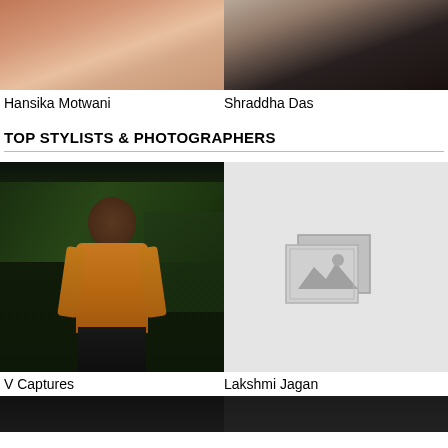[Figure (photo): Partial photo of Hansika Motwani - close up face/hair]
[Figure (photo): Partial photo of Shraddha Das - face with jeweled necklace]
Hansika Motwani
Shraddha Das
TOP STYLISTS & PHOTOGRAPHERS
[Figure (photo): Man in orange/brown shirt standing outdoors at night with tropical plants - V Captures]
[Figure (photo): Placeholder image icon on gray background - Lakshmi Jagan]
V Captures
Lakshmi Jagan
[Figure (photo): Partial dark photo at bottom left]
[Figure (photo): Partial dark photo at bottom right]